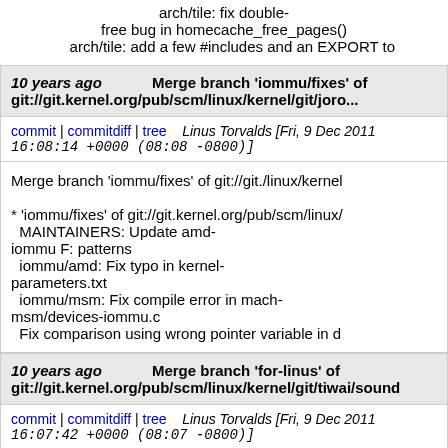arch/tile: fix double-free bug in homecache_free_pages()
    arch/tile: add a few #includes and an EXPORT to
10 years ago    Merge branch 'iommu/fixes' of git://git.kernel.org/pub/scm/linux/kernel/git/joro...
commit | commitdiff | tree    Linus Torvalds [Fri, 9 Dec 2011 16:08:14 +0000 (08:08 -0800)]
Merge branch 'iommu/fixes' of git://git./linux/kernel

* 'iommu/fixes' of git://git.kernel.org/pub/scm/linux/
  MAINTAINERS: Update amd-iommu F: patterns
  iommu/amd: Fix typo in kernel-parameters.txt
  iommu/msm: Fix compile error in mach-msm/devices-iommu.c
  Fix comparison using wrong pointer variable in d
10 years ago    Merge branch 'for-linus' of git://git.kernel.org/pub/scm/linux/kernel/git/tiwai/sound
commit | commitdiff | tree    Linus Torvalds [Fri, 9 Dec 2011 16:07:42 +0000 (08:07 -0800)]
Merge branch 'for-linus' of git://git./linux/kernel/git/tiwai/sound